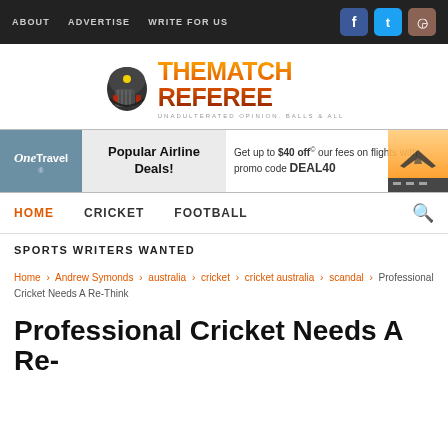ABOUT   ADVERTISE   WRITE FOR US
[Figure (logo): The Match Referee logo with cricket helmet icon, orange gradient text, tagline: UNADULTERATED OPINION. BALLS & ALL]
[Figure (infographic): OneTravel advertisement banner: Popular Airline Deals! Get up to $40 off our fees on flights with promo code DEAL40]
HOME   CRICKET   FOOTBALL
SPORTS WRITERS WANTED
Home > Andrew Symonds > australia > cricket > cricket australia > scandal > Professional Cricket Needs A Re-Think
Professional Cricket Needs A Re-